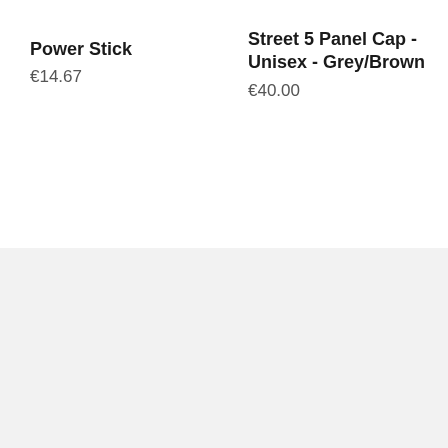Power Stick
€14.67
Street 5 Panel Cap - Unisex - Grey/Brown
€40.00
[Figure (logo): Snowminds Apparel logo in bold condensed black text with 'SNOWMINDS' on top and 'APPAREL' centered below]
Snowminds Store ApS, Refshalevej 151 1st floor, 1432 Copenhagen, Denmark (VAT NO DK36449543)
info@snowmindsstore.com
+45 71 74 93 98